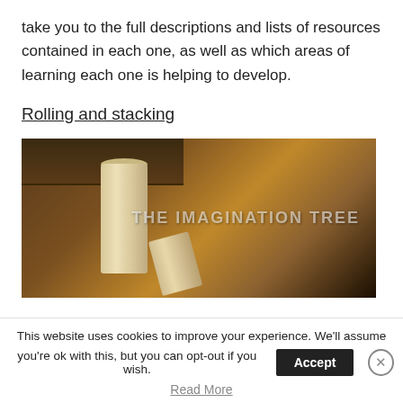take you to the full descriptions and lists of resources contained in each one, as well as which areas of learning each one is helping to develop.
Rolling and stacking
[Figure (photo): Photo of cardboard toilet paper tubes on a wooden table, with watermark text 'THE IMAGINATION TREE' overlaid on the right side.]
This website uses cookies to improve your experience. We'll assume you're ok with this, but you can opt-out if you wish. [Accept button] [Close button]
Read More